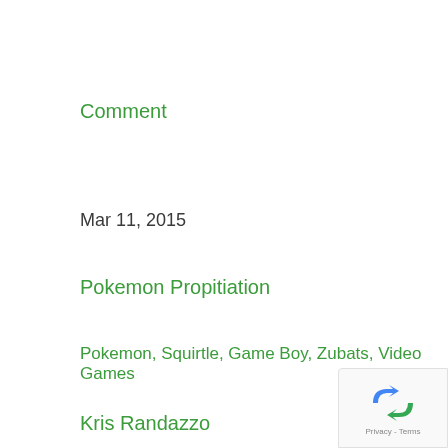Comment
Mar 11, 2015
Pokemon Propitiation
Pokemon, Squirtle, Game Boy, Zubats, Video Games
Kris Randazzo
Comment
[Figure (logo): reCAPTCHA badge with Google logo arrows icon and Privacy - Terms footer text]